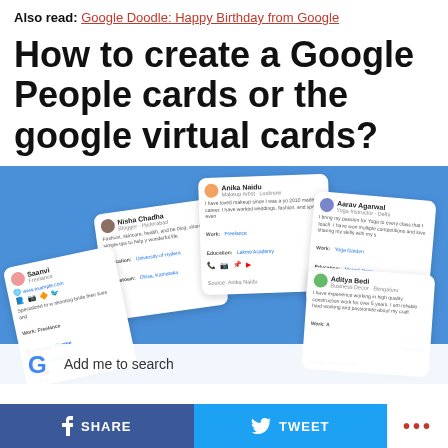Also read: Google Doodle: Happy Birthday from Google
How to create a Google People cards or the google virtual cards?
[Figure (screenshot): Screenshot showing multiple Google People cards fanned out on a blue background, including cards for Anika Naidu (Makeup Artist, Lucknow), Nisha Chadha (Blogger, Hyderabad), Aarav Agarwal (Yoga Instructor, Delhi), Aditya Bedi (Business Decor, Bengaluru), and Saanvi (Freelance), with an 'Add me to search' bar at the bottom featuring the Google G logo.]
SHARE   TWEET   ...